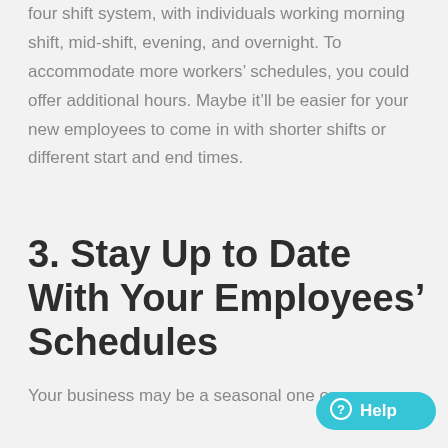four shift system, with individuals working morning shift, mid-shift, evening, and overnight. To accommodate more workers' schedules, you could offer additional hours. Maybe it'll be easier for your new employees to come in with shorter shifts or different start and end times.
3. Stay Up to Date With Your Employees' Schedules
Your business may be a seasonal one or